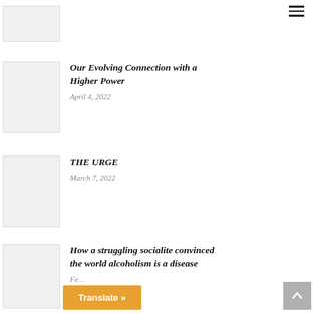[Figure (other): Thumbnail image placeholder, partially visible at top]
[Figure (other): Thumbnail image placeholder for article about Higher Power]
Our Evolving Connection with a Higher Power
April 4, 2022
[Figure (other): Thumbnail image placeholder for THE URGE article]
THE URGE
March 7, 2022
[Figure (other): Thumbnail image placeholder for socialite article]
How a struggling socialite convinced the world alcoholism is a disease
Fe…